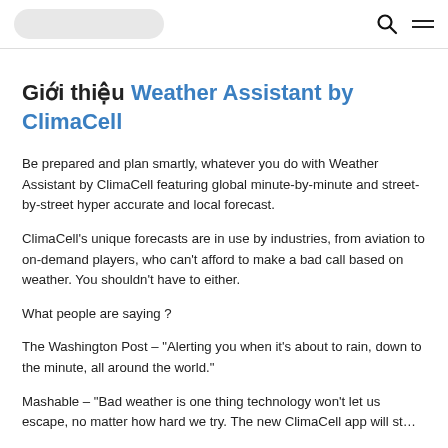[search pill] [search icon] [menu icon]
Giới thiệu Weather Assistant by ClimaCell
Be prepared and plan smartly, whatever you do with Weather Assistant by ClimaCell featuring global minute-by-minute and street-by-street hyper accurate and local forecast.
ClimaCell's unique forecasts are in use by industries, from aviation to on-demand players, who can't afford to make a bad call based on weather. You shouldn't have to either.
What people are saying ?
The Washington Post – "Alerting you when it's about to rain, down to the minute, all around the world."
Mashable – "Bad weather is one thing technology won't let us escape, no matter how hard we try. The new ClimaCell app will st…